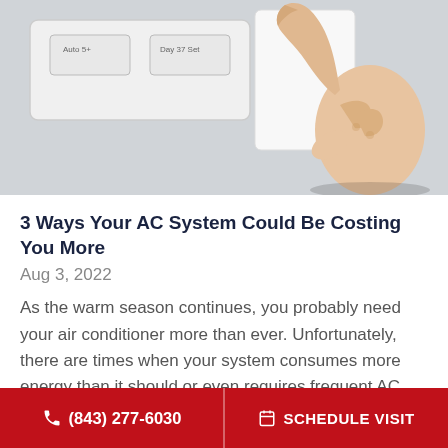[Figure (photo): A hand with index finger pointing at a white thermostat control panel mounted on a wall]
3 Ways Your AC System Could Be Costing You More
Aug 3, 2022
As the warm season continues, you probably need your air conditioner more than ever. Unfortunately, there are times when your system consumes more energy than it should or even requires frequent AC repairs. Here are three ways
(843) 277-6030   SCHEDULE VISIT